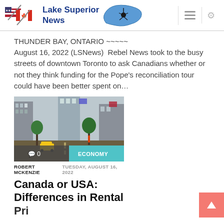Lake Superior News
THUNDER BAY, ONTARIO ~~~~~ August 16, 2022 (LSNews) Rebel News took to the busy streets of downtown Toronto to ask Canadians whether or not they think funding for the Pope's reconciliation tour could have been better spent on…
[Figure (photo): Street-level photo of a busy city downtown with tall buildings, trees, taxis, and flags visible. Overlay shows comment bubble with '0' and 'ECONOMY' tag in teal.]
ROBERT MCKENZIE  TUESDAY, AUGUST 16, 2022
Canada or USA: Differences in Rental Pri…